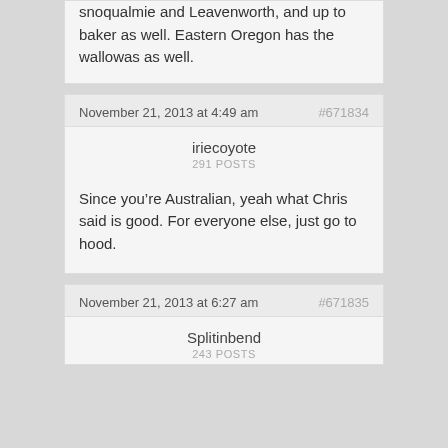snoqualmie and Leavenworth, and up to baker as well. Eastern Oregon has the wallowas as well.
November 21, 2013 at 4:49 am
#671834
iriecoyote
291 POSTS
Since you’re Australian, yeah what Chris said is good. For everyone else, just go to hood.
November 21, 2013 at 6:27 am
#671835
Splitinbend
243 POSTS